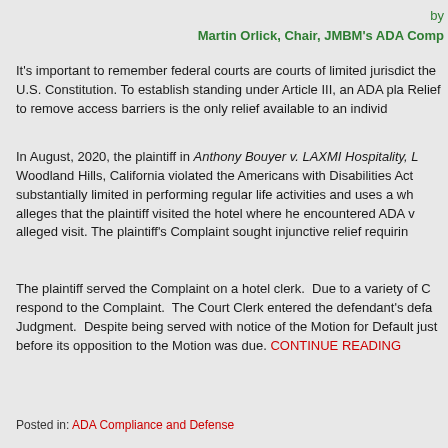by
Martin Orlick, Chair, JMBM's ADA Comp
It's important to remember federal courts are courts of limited jurisdict the U.S. Constitution. To establish standing under Article III, an ADA pla Relief to remove access barriers is the only relief available to an individ
In August, 2020, the plaintiff in Anthony Bouyer v. LAXMI Hospitality, L Woodland Hills, California violated the Americans with Disabilities Act substantially limited in performing regular life activities and uses a wh alleges that the plaintiff visited the hotel where he encountered ADA v alleged visit. The plaintiff's Complaint sought injunctive relief requirin
The plaintiff served the Complaint on a hotel clerk. Due to a variety of C respond to the Complaint. The Court Clerk entered the defendant's defa Judgment. Despite being served with notice of the Motion for Default just before its opposition to the Motion was due. CONTINUE READING
Posted in: ADA Compliance and Defense